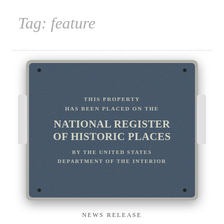Tag: feature
[Figure (photo): A dark blue-grey cast metal plaque mounted on a silver frame with notched corners and screw mounts. Text on the plaque reads: 'THIS PROPERTY HAS BEEN PLACED ON THE NATIONAL REGISTER OF HISTORIC PLACES BY THE UNITED STATES DEPARTMENT OF THE INTERIOR']
NEWS RELEASE